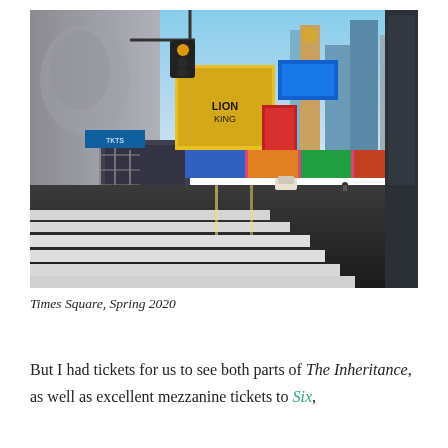[Figure (photo): Photograph of an empty Times Square street in Spring 2020, showing Broadway with colorful billboards and signs, crosswalk stripes in foreground, nearly devoid of people or traffic, blue sky visible above buildings.]
Times Square, Spring 2020
But I had tickets for us to see both parts of The Inheritance, as well as excellent mezzanine tickets to Six,